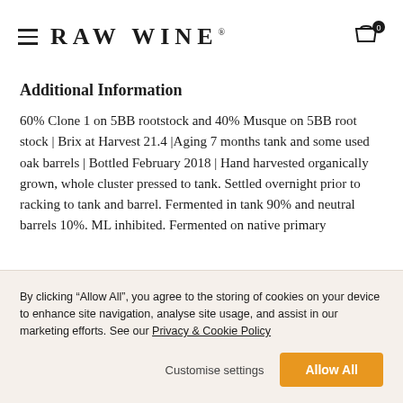RAW WINE
Additional Information
60% Clone 1 on 5BB rootstock and 40% Musque on 5BB root stock | Brix at Harvest 21.4 |Aging 7 months tank and some used oak barrels | Bottled February 2018 | Hand harvested organically grown, whole cluster pressed to tank. Settled overnight prior to racking to tank and barrel. Fermented in tank 90% and neutral barrels 10%. ML inhibited. Fermented on native primary
By clicking “Allow All”, you agree to the storing of cookies on your device to enhance site navigation, analyse site usage, and assist in our marketing efforts. See our Privacy & Cookie Policy
Customise settings
Allow All